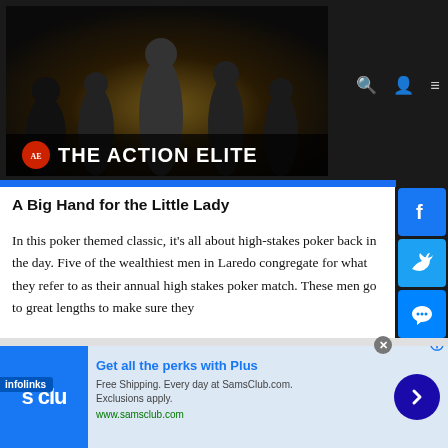[Figure (screenshot): Website banner for 'The Action Elite' showing movie characters in a dark action movie style banner with the website name in bold white text]
A Big Hand for the Little Lady
In this poker themed classic, it's all about high-stakes poker back in the day. Five of the wealthiest men in Laredo congregate for what they refer to as their annual high stakes poker match. These men go to great lengths to make sure they make it to the even, and one of the men even reschedules his
[Figure (screenshot): Sam's Club advertisement: Get all the perks with Plus. Free Shipping. Every day at SamsClub.com. Exclusions apply. www.samsclub.com]